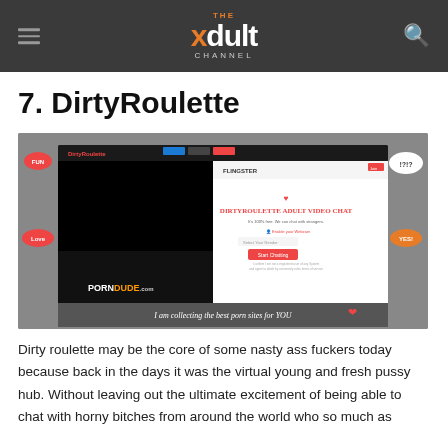The xdult Channel
7. DirtyRoulette
[Figure (screenshot): Screenshot of DirtyRoulette adult video chat website showing the Flingster interface with 'DIRTYROULETTE ADULT VIDEO CHAT' heading, a 'Start Chatting' button, and PornDude.com watermark with cartoon mascots and 'I am collecting the best porn sites for YOU' text]
Dirty roulette may be the core of some nasty ass fuckers today because back in the days it was the virtual young and fresh pussy hub. Without leaving out the ultimate excitement of being able to chat with horny bitches from around the world who so much as